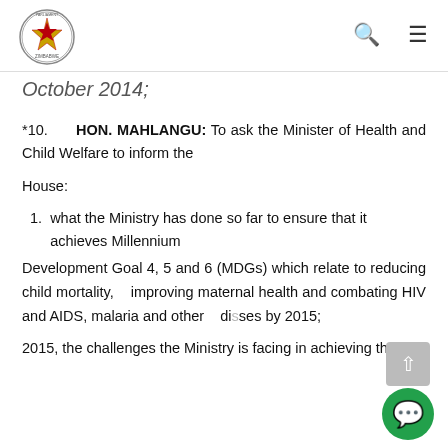Parliament of Zimbabwe - logo, search and menu icons
October 2014;
*10.      HON. MAHLANGU: To ask the Minister of Health and Child Welfare to inform the
House:
1. what the Ministry has done so far to ensure that it achieves Millennium
Development Goal 4, 5 and 6 (MDGs) which relate to reducing child mortality,    improving maternal health and combating HIV and AIDS, malaria and other    diseases by 2015;
2015, the challenges the Ministry is facing in achieving these